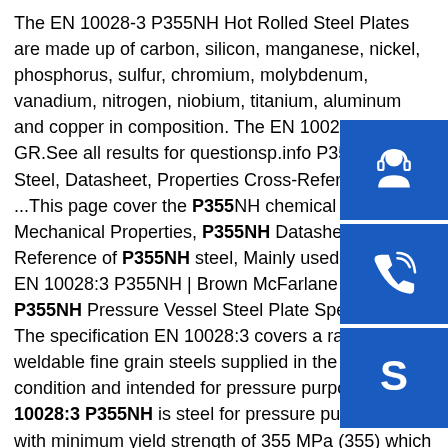The EN 10028-3 P355NH Hot Rolled Steel Plates are made up of carbon, silicon, manganese, nickel, phosphorus, sulfur, chromium, molybdenum, vanadium, nitrogen, niobium, titanium, aluminum and copper in composition. The EN 10028-3 GR.See all results for questionsp.info P355NH Steel, Datasheet, Properties Cross-Reference Table ...This page cover the P355NH chemical element, Mechanical Properties, P355NH Datasheet, Cross Reference of P355NH steel, Mainly used for .sp.info EN 10028:3 P355NH | Brown McFarlane EN 10028:3 P355NH Pressure Vessel Steel Plate Specifications. The specification EN 10028:3 covers a range of weldable fine grain steels supplied in the normalised condition and intended for pressure purposes. EN 10028:3 P355NH is steel for pressure purposes (P) with minimum yield strength of 355 MPa (355) which has specified elevated temperature properties (NH). Estimated Reading Time: 30 secs
[Figure (illustration): Three blue icon boxes arranged vertically on the right side: a customer support/headset icon, a phone call icon, and a Skype icon]